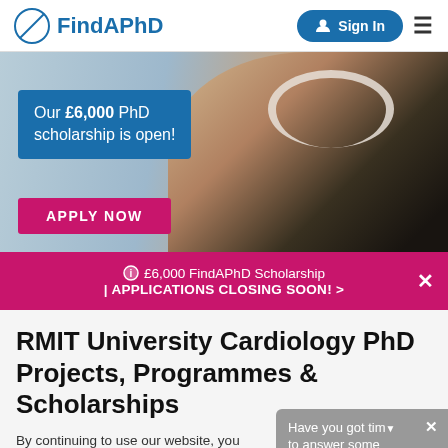FindAPhD | Sign In
[Figure (photo): Hero banner showing a smiling man wearing white headphones, with a scholarship promotion overlay. Blue box reads 'Our £6,000 PhD scholarship is open!' and a pink button reads 'APPLY NOW'.]
£6,000 FindAPhD Scholarship | APPLICATIONS CLOSING SOON! ×
RMIT University Cardiology PhD Projects, Programmes & Scholarships
By continuing to use our website, you agree to our privacy policy
Have you got time to answer some